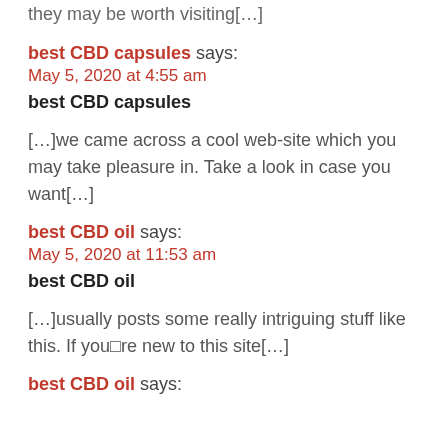they may be worth visiting[…]
best CBD capsules says:
May 5, 2020 at 4:55 am
best CBD capsules
[…]we came across a cool web-site which you may take pleasure in. Take a look in case you want[…]
best CBD oil says:
May 5, 2020 at 11:53 am
best CBD oil
[…]usually posts some really intriguing stuff like this. If you□re new to this site[…]
best CBD oil says: